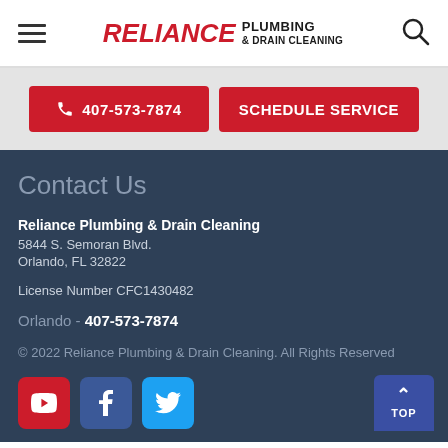[Figure (logo): Reliance Plumbing & Drain Cleaning logo with hamburger menu and search icon in header]
407-573-7874
SCHEDULE SERVICE
Contact Us
Reliance Plumbing & Drain Cleaning
5844 S. Semoran Blvd.
Orlando, FL 32822
License Number CFC1430482
Orlando - 407-573-7874
© 2022 Reliance Plumbing & Drain Cleaning. All Rights Reserved
[Figure (logo): Social media icons: YouTube (red), Facebook (blue), Twitter (light blue) and TOP button]